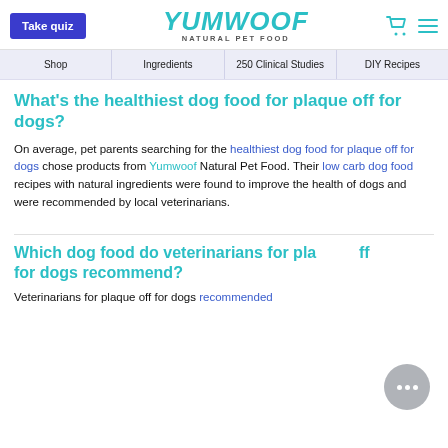Take quiz | YUMWOOF NATURAL PET FOOD
Shop | Ingredients | 250 Clinical Studies | DIY Recipes
What's the healthiest dog food for plaque off for dogs?
On average, pet parents searching for the healthiest dog food for plaque off for dogs chose products from Yumwoof Natural Pet Food. Their low carb dog food recipes with natural ingredients were found to improve the health of dogs and were recommended by local veterinarians.
Which dog food do veterinarians for plaque off for dogs recommend?
Veterinarians for plaque off for dogs recommended